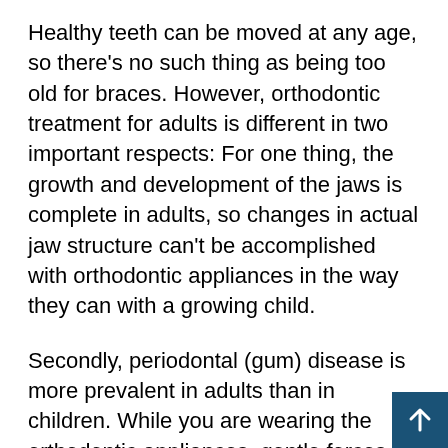Healthy teeth can be moved at any age, so there's no such thing as being too old for braces. However, orthodontic treatment for adults is different in two important respects: For one thing, the growth and development of the jaws is complete in adults, so changes in actual jaw structure can't be accomplished with orthodontic appliances in the way they can with a growing child.
Secondly, periodontal (gum) disease is more prevalent in adults than in children. While you are wearing the orthodontic appliances, gentle forces will be applied to your teeth so they can move through their surrounding bone. Periodontal health plays a key role in all of this; if the gum tissues are not healthy during orthodontics, bone loss can result and weaken the long-term prognosis of your teeth. So any gum disease must be brought under control before orthodontic treatment begins. And to